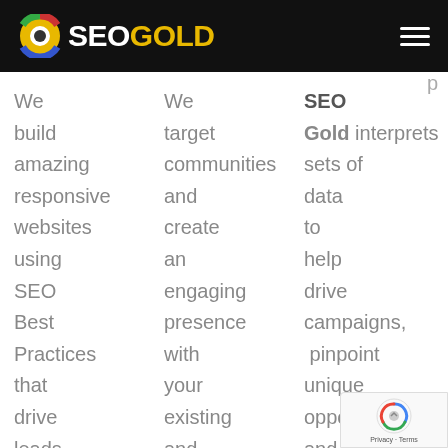SEO GOLD
We build amazing responsive websites using SEO Best Practices that drive leads
We target communities and create an engaging presence with your existing and
SEO Gold interprets sets of data to help drive campaigns, pinpoint unique opportunities and
[Figure (logo): reCAPTCHA badge with Google logo and Privacy - Terms text]